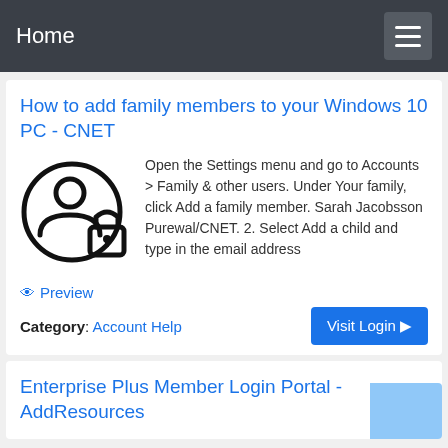Home
How to add family members to your Windows 10 PC - CNET
Open the Settings menu and go to Accounts > Family & other users. Under Your family, click Add a family member. Sarah Jacobsson Purewal/CNET. 2. Select Add a child and type in the email address
👁 Preview
Category: Account Help
Visit Login ▶
Enterprise Plus Member Login Portal - AddResources